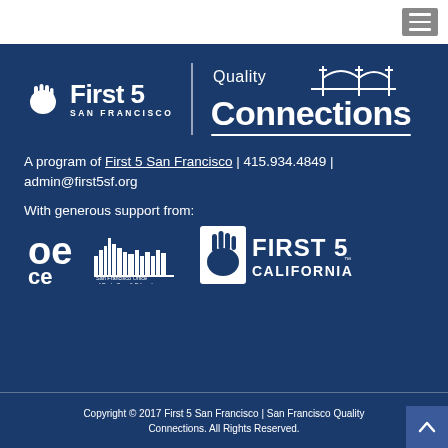[Figure (logo): First 5 San Francisco | Quality Connections logo on dark blue background]
A program of First 5 San Francisco | 415.934.4849 | admin@first5sf.org
With generous support from:
[Figure (logo): SF Office of Early Care & Education (OECE) logo]
[Figure (logo): First 5 California logo]
Copyright © 2017 First 5 San Francisco | San Francisco Quality Connections. All Rights Reserved.